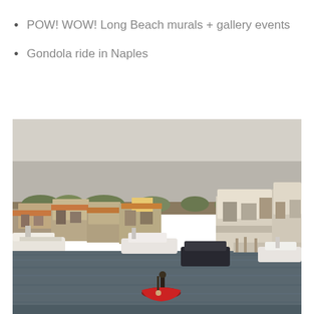POW! WOW! Long Beach murals + gallery events
Gondola ride in Naples
[Figure (photo): Aerial view of the Naples canal in Long Beach, California. A red gondola with a gondolier is visible in the center of the calm waterway. Houses with terracotta roofs and white facades line both sides of the canal, with boats docked along the shores. The sky is overcast and grey.]